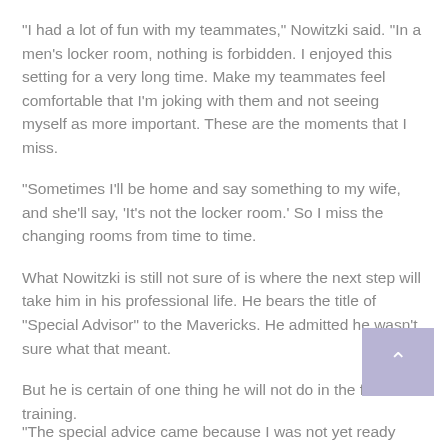“I had a lot of fun with my teammates,” Nowitzki said. “In a men’s locker room, nothing is forbidden. I enjoyed this setting for a very long time. Make my teammates feel comfortable that I’m joking with them and not seeing myself as more important. These are the moments that I miss.
“Sometimes I’ll be home and say something to my wife, and she’ll say, ‘It’s not the locker room.’ So I miss the changing rooms from time to time.
What Nowitzki is still not sure of is where the next step will take him in his professional life. He bears the title of “Special Advisor” to the Mavericks. He admitted he wasn’t sure what that meant.
But he is certain of one thing he will not do in the future: training.
“The special advice came because I was not yet ready